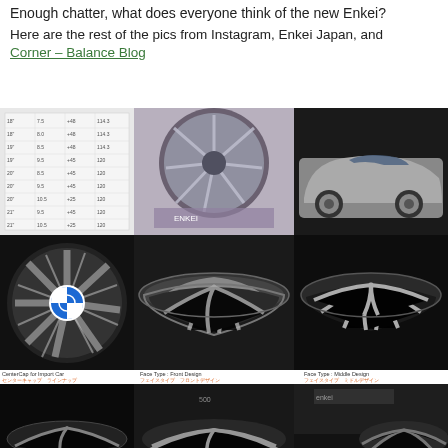Enough chatter, what does everyone think of the new Enkei?
Here are the rest of the pics from Instagram, Enkei Japan, and Corner – Balance Blog
[Figure (photo): Grid of 9 photos showing Enkei wheels: a spec table, a single wheel, a BMW car with low stance, a BMW center detail, two wheel side profile shots, and three bottom partial wheel shots]
CenterCap for Import Car
Face Type : Front Design
Face Type : Middle Design